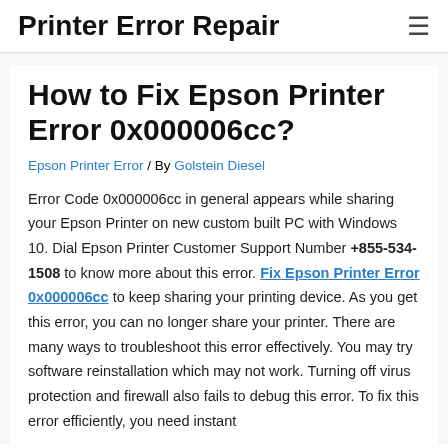Printer Error Repair
How to Fix Epson Printer Error 0x000006cc?
Epson Printer Error / By Golstein Diesel
Error Code 0x000006cc in general appears while sharing your Epson Printer on new custom built PC with Windows 10. Dial Epson Printer Customer Support Number +855-534-1508 to know more about this error. Fix Epson Printer Error 0x000006cc to keep sharing your printing device. As you get this error, you can no longer share your printer. There are many ways to troubleshoot this error effectively. You may try software reinstallation which may not work. Turning off virus protection and firewall also fails to debug this error. To fix this error efficiently, you need instant